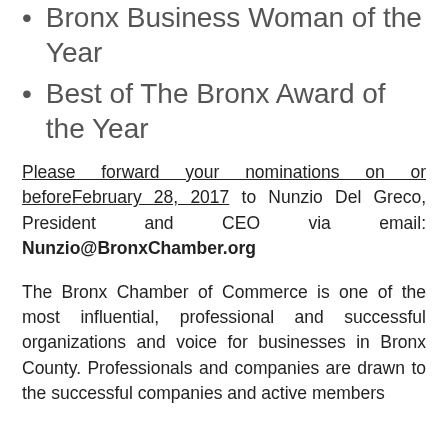Bronx Business Woman of the Year
Best of The Bronx Award of the Year
Please forward your nominations on or before February 28, 2017 to Nunzio Del Greco, President and CEO via email: Nunzio@BronxChamber.org
The Bronx Chamber of Commerce is one of the most influential, professional and successful organizations and voice for businesses in Bronx County. Professionals and companies are drawn to the successful companies and active members